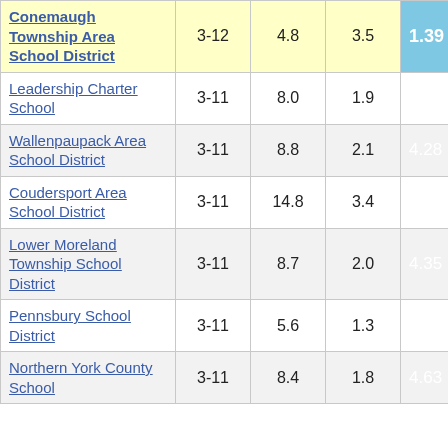| School District | Grades | Col3 | Col4 | Score |
| --- | --- | --- | --- | --- |
| Conemaugh Township Area School District | 3-12 | 4.8 | 3.5 | 1.39 |
| Leadership Charter School | 3-11 | 8.0 | 1.9 | 4.22 |
| Wallenpaupack Area School District | 3-11 | 8.8 | 2.1 | 4.28 |
| Coudersport Area School District | 3-11 | 14.8 | 3.4 | 4.33 |
| Lower Moreland Township School District | 3-11 | 8.7 | 2.0 | 4.35 |
| Pennsbury School District | 3-11 | 5.6 | 1.3 | 4.38 |
| Northern York County School | 3-11 | 8.4 | 1.8 | 4.63 |